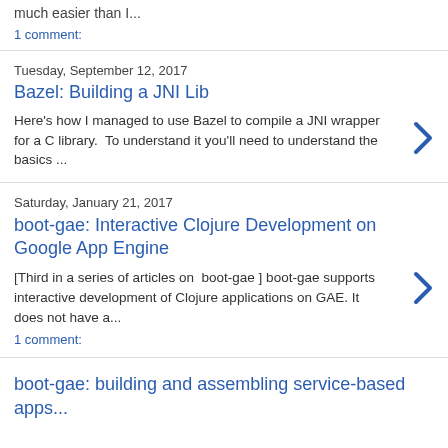much easier than I...
1 comment:
Tuesday, September 12, 2017
Bazel: Building a JNI Lib
Here's how I managed to use Bazel to compile a JNI wrapper for a C library.  To understand it you'll need to understand the basics ...
Saturday, January 21, 2017
boot-gae: Interactive Clojure Development on Google App Engine
[Third in a series of articles on  boot-gae ] boot-gae supports interactive development of Clojure applications on GAE. It does not have a...
1 comment:
boot-gae: building and assembling service-based apps...